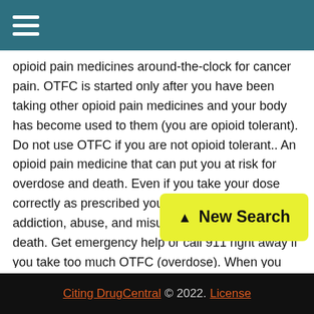opioid pain medicines around-the-clock for cancer pain. OTFC is started only after you have been taking other opioid pain medicines and your body has become used to them (you are opioid tolerant). Do not use OTFC if you are not opioid tolerant.. An opioid pain medicine that can put you at risk for overdose and death. Even if you take your dose correctly as prescribed you are at risk for opioid addiction, abuse, and misuse that can lead to death. Get emergency help or call 911 right away if you take too much OTFC (overdose). When you first start taking OTFC, when your dose is changed, or if you take [too much OTFC], serious or life-threatening breathing [problems]...
[Figure (other): Yellow 'New Search' button with upward arrow icon]
Citing DrugCentral © 2022. License